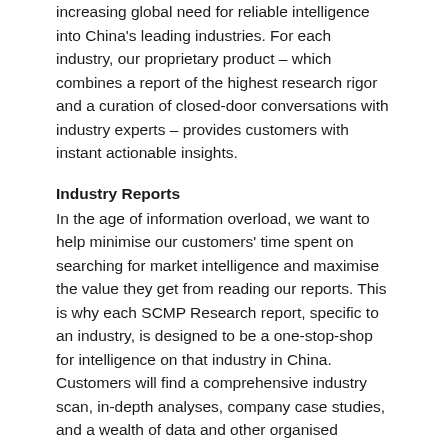increasing global need for reliable intelligence into China's leading industries. For each industry, our proprietary product – which combines a report of the highest research rigor and a curation of closed-door conversations with industry experts – provides customers with instant actionable insights.
Industry Reports
In the age of information overload, we want to help minimise our customers' time spent on searching for market intelligence and maximise the value they get from reading our reports. This is why each SCMP Research report, specific to an industry, is designed to be a one-stop-shop for intelligence on that industry in China. Customers will find a comprehensive industry scan, in-depth analyses, company case studies, and a wealth of data and other organised information to aid their decision making – all rolled up into one fully visual and easily digestible product.
Closed-Door Webinars
Our webinars are more than just information